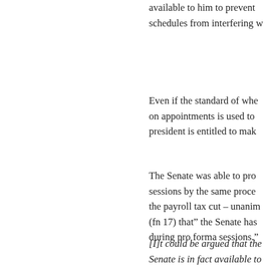available to him to prevent schedules from interfering w
Even if the standard of whe on appointments is used to president is entitled to mak
The Senate was able to pro sessions by the same proce the payroll tax cut – unanim (fn 17) that" the Senate has during pro forma sessions."
[I]t could be argued that the Senate is in fact available to by periodic pro forma sessi